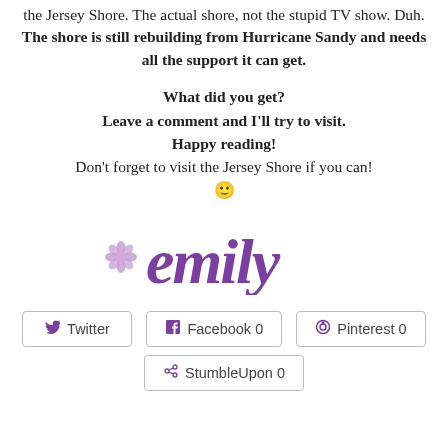the Jersey Shore. The actual shore, not the stupid TV show. Duh. The shore is still rebuilding from Hurricane Sandy and needs all the support it can get.
What did you get? Leave a comment and I'll try to visit. Happy reading! Don't forget to visit the Jersey Shore if you can! 🙂
[Figure (illustration): Signature of 'emily' in purple cursive script with a purple flower icon to the left]
Twitter  Facebook 0  Pinterest 0  StumbleUpon 0